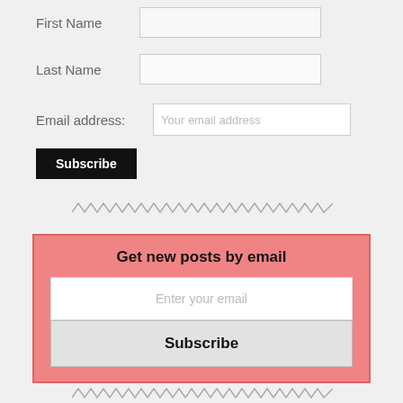First Name
Last Name
Email address:
Subscribe
[Figure (other): Zigzag/wavy decorative divider line]
Get new posts by email
Enter your email
Subscribe
[Figure (other): Zigzag/wavy decorative divider line at bottom]